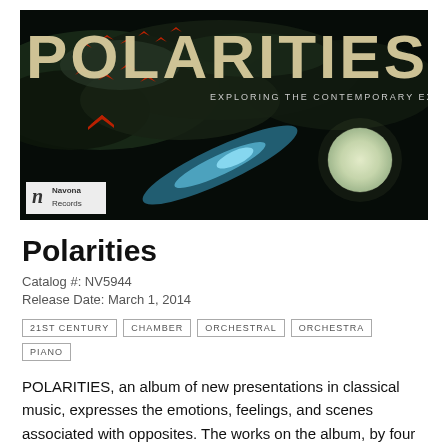[Figure (illustration): Album cover for 'Polarities: Exploring the Contemporary Expanse' on Navona Records. Dark background with dramatic clouds, red bird-like creatures flying, a glowing comet and a full moon. Large beige/tan text reads POLARITIES at top, subtitle EXPLORING THE CONTEMPORARY EXPANSE to the right. Navona Records logo badge at bottom left.]
Polarities
Catalog #: NV5944
Release Date: March 1, 2014
21ST CENTURY
CHAMBER
ORCHESTRAL
ORCHESTRA
PIANO
POLARITIES, an album of new presentations in classical music, expresses the emotions, feelings, and scenes associated with opposites. The works on the album, by four composers, range from a piece for wind ensemble and the Chinese gaohu, to a piano sonata, a chamber work, and works for orchestra.